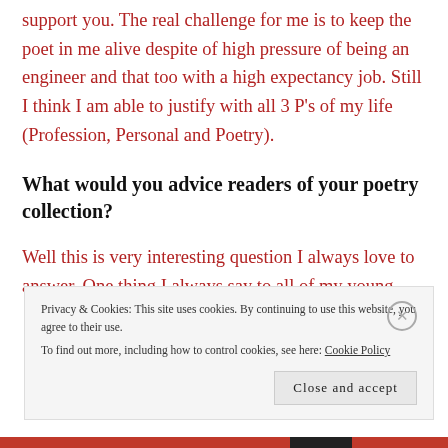support you. The real challenge for me is to keep the poet in me alive despite of high pressure of being an engineer and that too with a high expectancy job. Still I think I am able to justify with all 3 P's of my life (Profession, Personal and Poetry).
What would you advice readers of your poetry collection?
Well this is very interesting question I always love to answer. One thing I always say to all of my young
Privacy & Cookies: This site uses cookies. By continuing to use this website, you agree to their use.
To find out more, including how to control cookies, see here: Cookie Policy
Close and accept